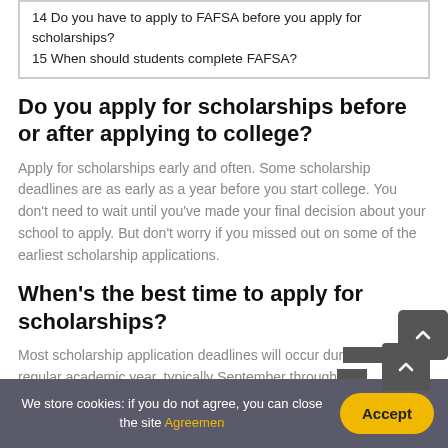| 14 Do you have to apply to FAFSA before you apply for scholarships? |
| 15 When should students complete FAFSA? |
Do you apply for scholarships before or after applying to college?
Apply for scholarships early and often. Some scholarship deadlines are as early as a year before you start college. You don't need to wait until you've made your final decision about your school to apply. But don't worry if you missed out on some of the earliest scholarship applications.
When's the best time to apply for scholarships?
Most scholarship application deadlines will occur during the regular academic year, typically September through May
We store cookies: if you do not agree, you can close the site Agreemen